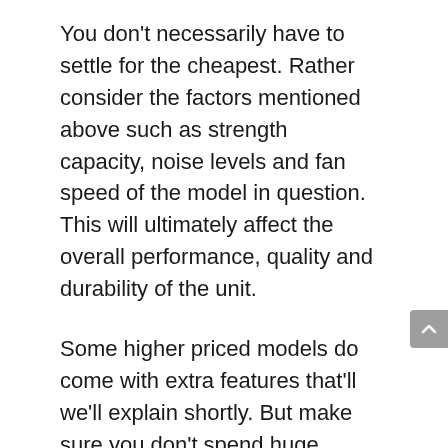You don't necessarily have to settle for the cheapest. Rather consider the factors mentioned above such as strength capacity, noise levels and fan speed of the model in question. This will ultimately affect the overall performance, quality and durability of the unit.
Some higher priced models do come with extra features that'll we'll explain shortly. But make sure you don't spend huge sums of money on range hoods with features you won't actually use.